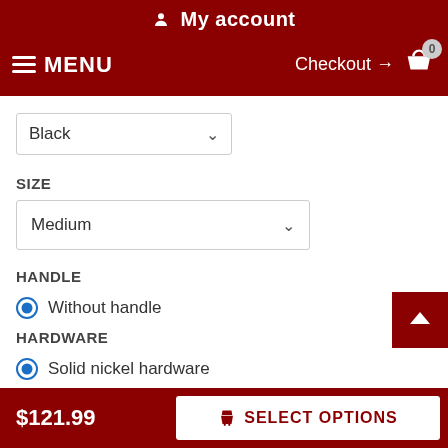My account | MENU | Checkout → 0
Black (dropdown)
SIZE
Medium (dropdown)
HANDLE
Without handle (selected)
HARDWARE
Solid nickel hardware (selected)
Around the neck of the dog
$121.99  SELECT OPTIONS